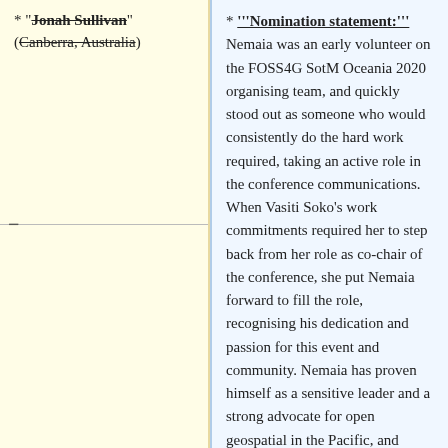* "'Jonah Sullivan'" (Canberra, Australia) [strikethrough]
* '''Nomination statement:''' Nemaia was an early volunteer on the FOSS4G SotM Oceania 2020 organising team, and quickly stood out as someone who would consistently do the hard work required, taking an active role in the conference communications. When Vasiti Soko's work commitments required her to step back from her role as co-chair of the conference, she put Nemaia forward to fill the role, recognising his dedication and passion for this event and community. Nemaia has proven himself as a sensitive leader and a strong advocate for open geospatial in the Pacific, and